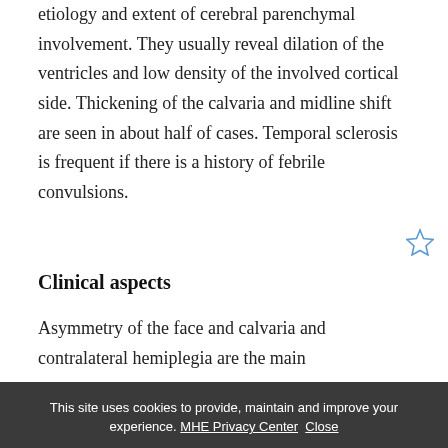etiology and extent of cerebral parenchymal involvement. They usually reveal dilation of the ventricles and low density of the involved cortical side. Thickening of the calvaria and midline shift are seen in about half of cases. Temporal sclerosis is frequent if there is a history of febrile convulsions.
Clinical aspects
Asymmetry of the face and calvaria and contralateral hemiplegia are the main
This site uses cookies to provide, maintain and improve your experience. MHE Privacy Center Close